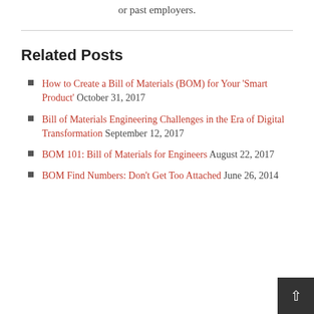or past employers.
Related Posts
How to Create a Bill of Materials (BOM) for Your ‘Smart Product’  October 31, 2017
Bill of Materials Engineering Challenges in the Era of Digital Transformation  September 12, 2017
BOM 101: Bill of Materials for Engineers  August 22, 2017
BOM Find Numbers: Don’t Get Too Attached  June 26, 2014